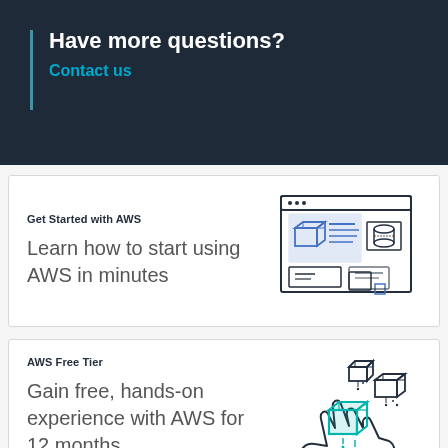Have more questions?
Contact us
Get Started with AWS
Learn how to start using AWS in minutes
[Figure (illustration): Line drawing of a browser/dashboard UI with a 3D cube icon, text lines, and panel widgets in blue and dark outlines]
AWS Free Tier
Gain free, hands-on experience with AWS for 12 months
[Figure (illustration): Line drawing of a hand receiving falling 3D cubes, with teal/green cube in center and dark outlined cubes falling, with speed lines]